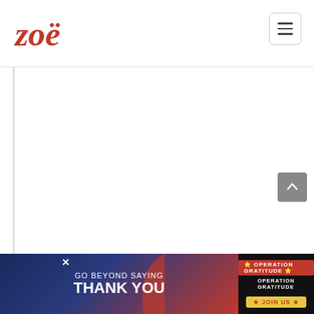zoë [logo]
Europe, the butterfat content is at least 82%, whereas American butter is closer to 80%. You can often buy European butter in American grocery stores, but there are also domestic butters that have higher fat content and are typically labeled “European-style” butter.
[Figure (photo): Advertisement banner: 'Go Beyond Saying Thank You' with Operation Gratitude logo and Join Us button]
Go Beyond Saying Thank You — Operation Gratitude — Join Us